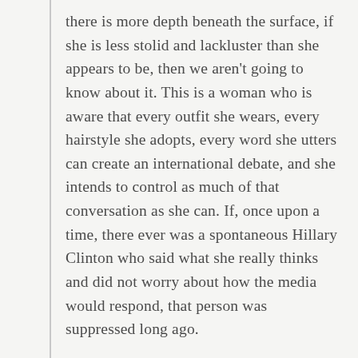there is more depth beneath the surface, if she is less stolid and lackluster than she appears to be, then we aren't going to know about it. This is a woman who is aware that every outfit she wears, every hairstyle she adopts, every word she utters can create an international debate, and she intends to control as much of that conversation as she can. If, once upon a time, there ever was a spontaneous Hillary Clinton who said what she really thinks and did not worry about how the media would respond, that person was suppressed long ago.

Maybe, if she really wants to be president, she was right to have done so. It really is true that one slip of the tongue could end Clinton's